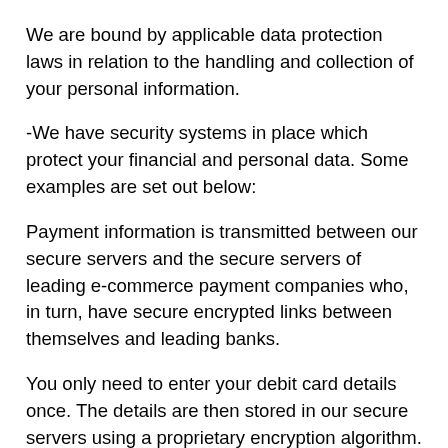We are bound by applicable data protection laws in relation to the handling and collection of your personal information.
-We have security systems in place which protect your financial and personal data. Some examples are set out below:
Payment information is transmitted between our secure servers and the secure servers of leading e-commerce payment companies who, in turn, have secure encrypted links between themselves and leading banks.
You only need to enter your debit card details once. The details are then stored in our secure servers using a proprietary encryption algorithm. After that, your debit card details will only be used when you make a deposit to or withdrawal from your member account.
We require a 3-digit Card Security Code for debit card...